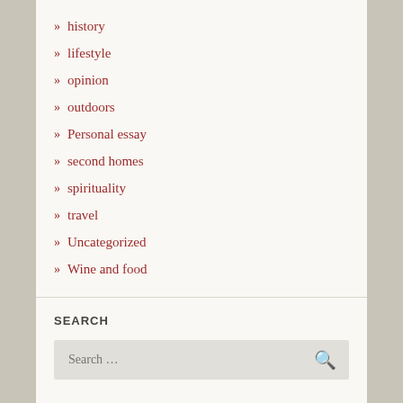» history
» lifestyle
» opinion
» outdoors
» Personal essay
» second homes
» spirituality
» travel
» Uncategorized
» Wine and food
SEARCH
Search ...